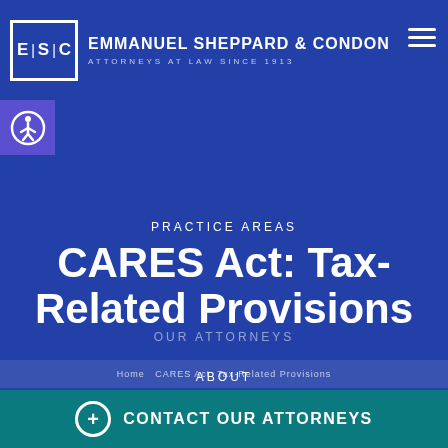[Figure (logo): ESC logo box with text EMMANUEL SHEPPARD & CONDON, ATTORNEYS AT LAW SINCE 1913]
EMMANUEL SHEPPARD & CONDON
ATTORNEYS AT LAW SINCE 1913
PRACTICE AREAS
CARES Act: Tax-Related Provisions
OUR ATTORNEYS
ABOUT
NEWS & PRESS
Home  CARES Act: Tax-Related Provisions
+ CONTACT OUR ATTORNEYS